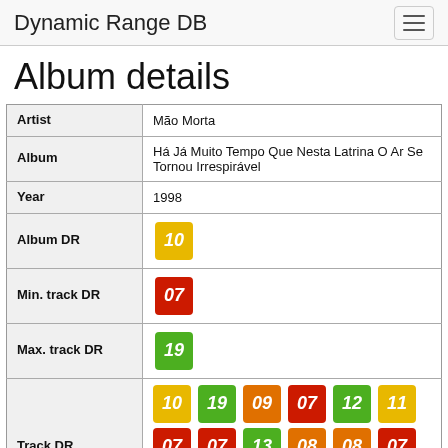Dynamic Range DB
Album details
| Field | Value |
| --- | --- |
| Artist | Mão Morta |
| Album | Há Já Muito Tempo Que Nesta Latrina O Ar Se Tornou Irrespirável |
| Year | 1998 |
| Album DR | 10 |
| Min. track DR | 07 |
| Max. track DR | 19 |
| Track DR | 10 19 09 07 12 11 07 07 13 08 08 07 10 13 07 10 |